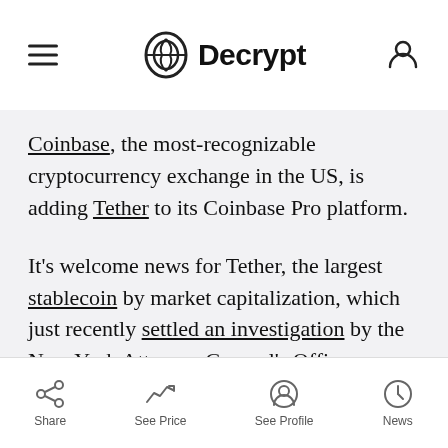Decrypt
Coinbase, the most-recognizable cryptocurrency exchange in the US, is adding Tether to its Coinbase Pro platform.
It's welcome news for Tether, the largest stablecoin by market capitalization, which just recently settled an investigation by the New York Attorney General's Office regarding potentially illicit loans between it and its sister exchange, Bitfinex.
The loan saw Bitfinex get access to $900 million in
Share  See Price  See Profile  News